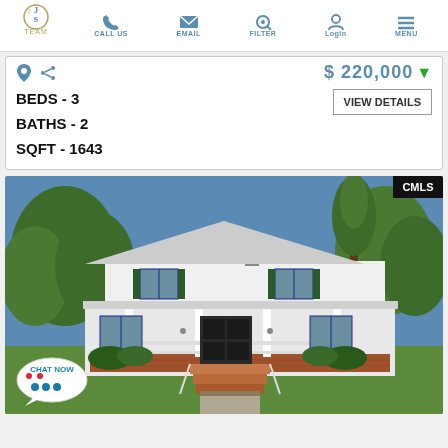JS Team — CALL US | EMAIL | FILTER | Login | MENU
$ 220,000 ▼
BEDS - 3
BATHS - 2
SQFT - 1643
VIEW DETAILS
[Figure (photo): Two-story white colonial house with front porch, green shutters, brick steps, trees in background, CMLS watermark in top right corner]